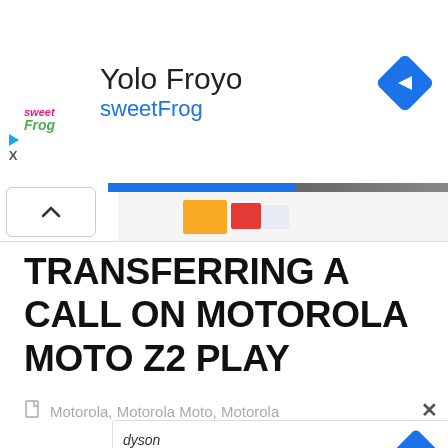[Figure (screenshot): sweetFrog frozen yogurt advertisement banner with logo, title 'Yolo Froyo', subtitle 'sweetFrog' in blue, and navigation diamond icon on the right]
[Figure (screenshot): Collapsed card strip with chevron up button and partial colorful image strip]
TRANSFERRING A CALL ON MOTOROLA MOTO Z2 PLAY
Motorola, Motorola Moto, Motorola
[Figure (screenshot): Dyson advertisement banner with dyson logo text and navigation diamond icon on the right, with play icon at bottom left]